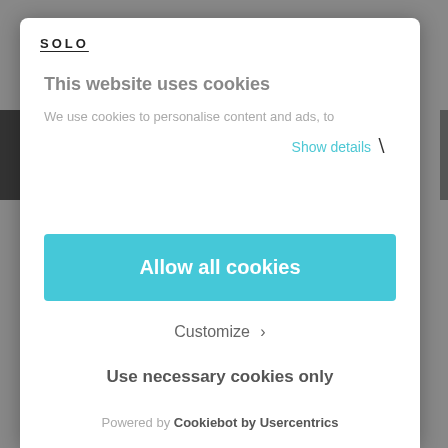[Figure (logo): SOLO brand logo text in uppercase with underline]
This website uses cookies
We use cookies to personalise content and ads, to
Show details ▸
Allow all cookies
Customize ›
Use necessary cookies only
Powered by Cookiebot by Usercentrics